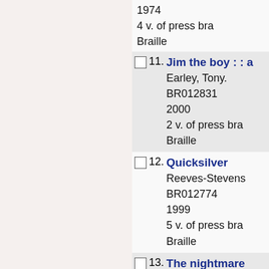1974
4 v. of press bra
Braille
11. Jim the boy : : a
Earley, Tony.
BR012831
2000
2 v. of press bra
Braille
12. Quicksilver
Reeves-Stevens
BR012774
1999
5 v. of press bra
Braille
13. The nightmare
Clegg, Douglas.
BR013223
1999